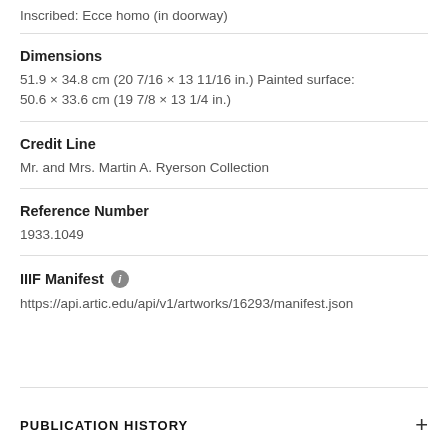Inscribed: Ecce homo (in doorway)
Dimensions
51.9 × 34.8 cm (20 7/16 × 13 11/16 in.) Painted surface: 50.6 × 33.6 cm (19 7/8 × 13 1/4 in.)
Credit Line
Mr. and Mrs. Martin A. Ryerson Collection
Reference Number
1933.1049
IIIF Manifest
https://api.artic.edu/api/v1/artworks/16293/manifest.json
PUBLICATION HISTORY